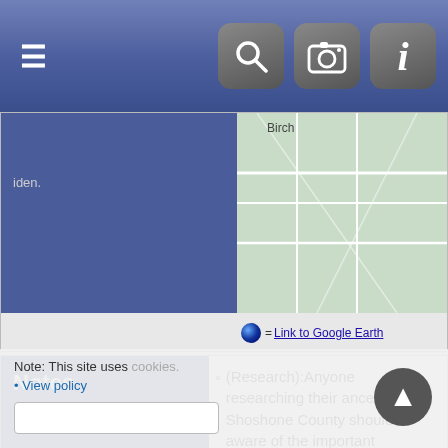[Figure (screenshot): Mobile app navigation bar with hamburger menu on left and three icon buttons (search, camera, info) on right, dark blue/slate gradient background]
[Figure (map): Partial map view showing green street map with labels including 'Birch' and 'iden', with Google Earth link icon on right side]
Notes
(Research):Anyone researching their ancestors in Shoshone County should be aware of the important connection between Shoshone County, Bonner County, Kootenai County, Spokane, WA and Rossland & Trail, B.C., Canada. To not look at these connections could mean missing your ancestor completely. Spokane, Rossland and Trail are all innerconnected to Shoshone County, particularly if your ancestor was in the mining industry. Miners came to Shoshone County from Rossland and Trail after the mines dried up in British Columbia. You can track your ancestors crossing the Canadian Border via films from the Mormon Library Family History Center, called the St Albans Border Crossing. If you suspect or know your was a miner, you can contact the Lei Roi Mining Museum in Rossland, B.C., see if they have any records. Additionally, Spokane, WA was built by money from the Silver Valley Mining industry. Contact the Eastern Washington
Note: This site uses cookies.
• View policy